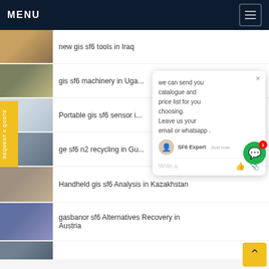MENU
new gis sf6 tools in Iraq
gis sf6 machinery in Uganda
Portable gis sf6 sensor i...
ge sf6 n2 recycling in Gu...
Handheld gis sf6 Analysis in Kazakhstan
gasbanor sf6 Alternatives Recovery in Austria
[Figure (screenshot): Chat popup with text: we can send you catalogue and price list for you choosing. Leave us your email or whatsapp. SF6 Expert - just now. Write a message input field.]